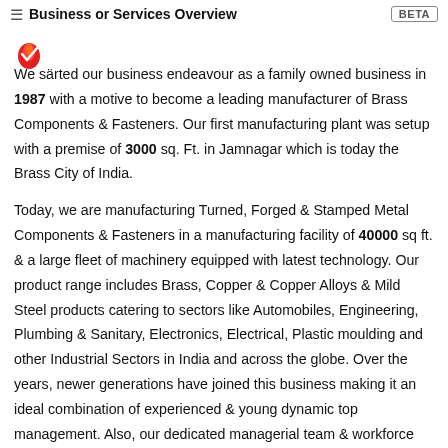Business or Services Overview  BETA
[Figure (logo): Red flame/feather logo icon]
We started our business endeavour as a family owned business in 1987 with a motive to become a leading manufacturer of Brass Components & Fasteners. Our first manufacturing plant was setup with a premise of 3000 sq. Ft. in Jamnagar which is today the Brass City of India.

Today, we are manufacturing Turned, Forged & Stamped Metal Components & Fasteners in a manufacturing facility of 40000 sq ft. & a large fleet of machinery equipped with latest technology. Our product range includes Brass, Copper & Copper Alloys & Mild Steel products catering to sectors like Automobiles, Engineering, Plumbing & Sanitary, Electronics, Electrical, Plastic moulding and other Industrial Sectors in India and across the globe. Over the years, newer generations have joined this business making it an ideal combination of experienced & young dynamic top management. Also, our dedicated managerial team & workforce has grown stronger